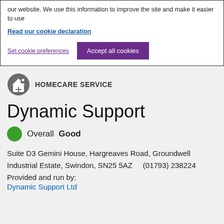our website. We use this information to improve the site and make it easier to use
Read our cookie declaration
Set cookie preferences
Accept all cookies
HOMECARE SERVICE
Dynamic Support
Overall Good
Suite D3 Gemini House, Hargreaves Road, Groundwell Industrial Estate, Swindon, SN25 5AZ    (01793) 238224
Provided and run by:
Dynamic Support Ltd